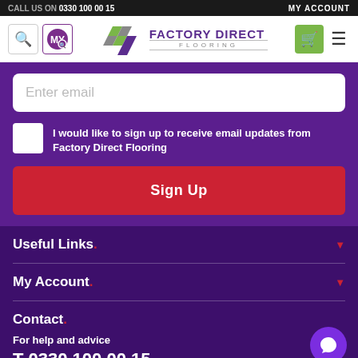CALL US ON 0330 100 00 15   MY ACCOUNT
[Figure (logo): Factory Direct Flooring logo with diamond shaped tiles and text]
Enter email
I would like to sign up to receive email updates from Factory Direct Flooring
Sign Up
Useful Links.
My Account.
Contact.
For help and advice
T 0330 100 00 15.